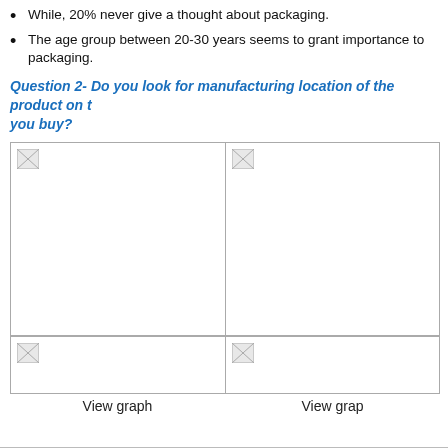While, 20% never give a thought about packaging.
The age group between 20-30 years seems to grant importance to packaging.
Question 2- Do you look for manufacturing location of the product on the packaging you buy?
[Figure (other): Broken image placeholder (top-left chart)]
[Figure (other): Broken image placeholder (top-right chart)]
[Figure (other): Broken image placeholder (bottom-left chart)]
[Figure (other): Broken image placeholder (bottom-right chart)]
View graph
View graph